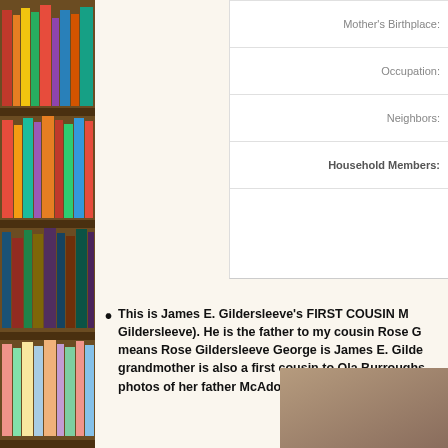[Figure (photo): Bookshelf with colorful books on the left side of the page]
| Mother's Birthplace: |  |
| Occupation: |  |
| Neighbors: |  |
| Household Members: |  |
This is James E. Gildersleeve's FIRST COUSIN M... Gildersleeve). He is the father to my cousin Rose G... means Rose Gildersleeve George is James E. Gilde... grandmother is also a first cousin to Ola Burroughs... photos of her father McAdoo Gildersleeve, who is ...
[Figure (photo): Partial photo visible in bottom right corner]